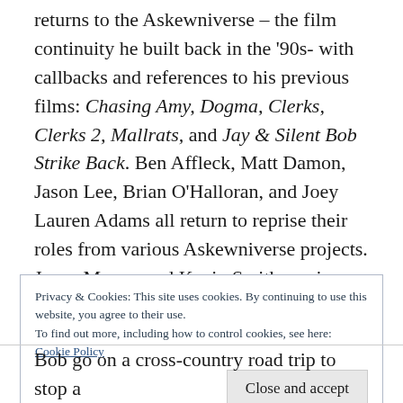returns to the Askewniverse – the film continuity he built back in the '90s- with callbacks and references to his previous films: Chasing Amy, Dogma, Clerks, Clerks 2, Mallrats, and Jay & Silent Bob Strike Back. Ben Affleck, Matt Damon, Jason Lee, Brian O'Halloran, and Joey Lauren Adams all return to reprise their roles from various Askewniverse projects. Jason Mewes and Kevin Smith reprise their roles as the titular Jay and Silent Bob.
Privacy & Cookies: This site uses cookies. By continuing to use this website, you agree to their use.
To find out more, including how to control cookies, see here:
Cookie Policy
Bob go on a cross-country road trip to stop a